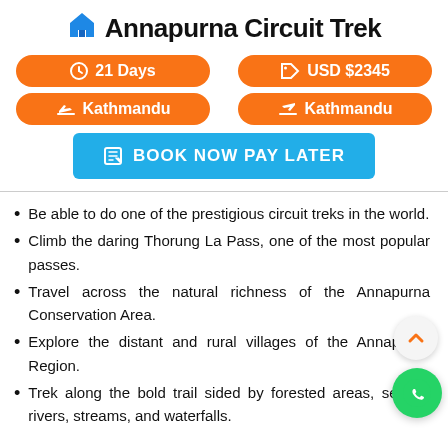Annapurna Circuit Trek
21 Days | USD $2345 | Kathmandu (departure) | Kathmandu (arrival)
BOOK NOW PAY LATER
Be able to do one of the prestigious circuit treks in the world.
Climb the daring Thorung La Pass, one of the most popular passes.
Travel across the natural richness of the Annapurna Conservation Area.
Explore the distant and rural villages of the Annapurna Region.
Trek along the bold trail sided by forested areas, several rivers, streams, and waterfalls.